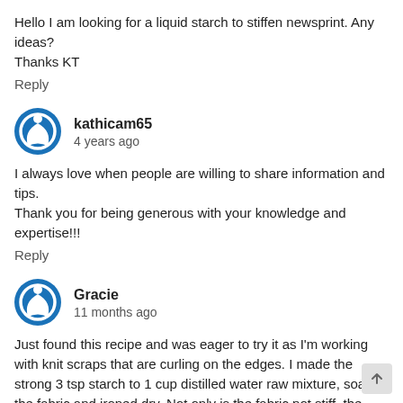Hello I am looking for a liquid starch to stiffen newsprint. Any ideas? Thanks KT
Reply
kathicam65
4 years ago
I always love when people are willing to share information and tips. Thank you for being generous with your knowledge and expertise!!!
Reply
Gracie
11 months ago
Just found this recipe and was eager to try it as I'm working with knit scraps that are curling on the edges. I made the strong 3 tsp starch to 1 cup distilled water raw mixture, soaked the fabric and ironed dry. Not only is the fabric not stiff, the edges are still rolling up, almost as badly as before. What am I missing?
Reply